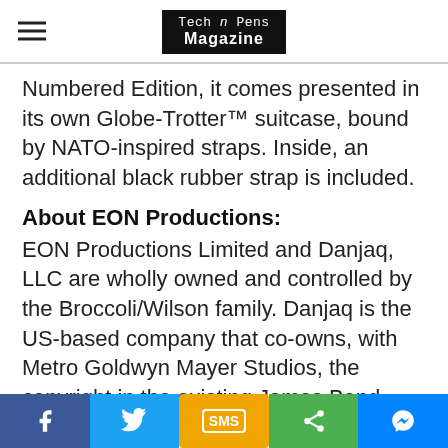Tech n Pens Magazine
Numbered Edition, it comes presented in its own Globe-Trotter™ suitcase, bound by NATO-inspired straps. Inside, an additional black rubber strap is included.
About EON Productions:
EON Productions Limited and Danjaq, LLC are wholly owned and controlled by the Broccoli/Wilson family. Danjaq is the US-based company that co-owns, with Metro Goldwyn Mayer Studios, the copyright in the existing James Bond
Facebook | Twitter | SMS | Share | Messenger